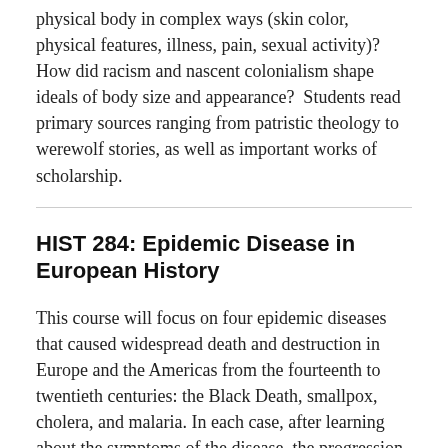physical body in complex ways (skin color, physical features, illness, pain, sexual activity)?  How did racism and nascent colonialism shape ideals of body size and appearance?  Students read primary sources ranging from patristic theology to werewolf stories, as well as important works of scholarship.
HIST 284: Epidemic Disease in European History
This course will focus on four epidemic diseases that caused widespread death and destruction in Europe and the Americas from the fourteenth to twentieth centuries: the Black Death, smallpox, cholera, and malaria. In each case, after learning about the symptoms of the disease, the progression of the epidemic(s), and the identity of